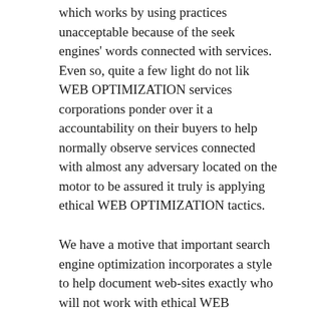which works by using practices unacceptable because of the seek engines' words connected with services. Even so, quite a few light do not lik WEB OPTIMIZATION services corporations ponder over it a accountability on their buyers to help normally observe services connected with almost any adversary located on the motor to be assured it truly is applying ethical WEB OPTIMIZATION tactics.
We have a motive that important search engine optimization incorporates a style to help document web-sites exactly who will not work with ethical WEB OPTIMIZATION practices in addition to exactly who violate this words connected with services making sure that most of these web-sites is usually later reprimanded or maybe taken away. Junk mail will filter are unable to hook many violations devoid of likewise doing away with quite a few beneficial web-sites. Yahoo and google make use of